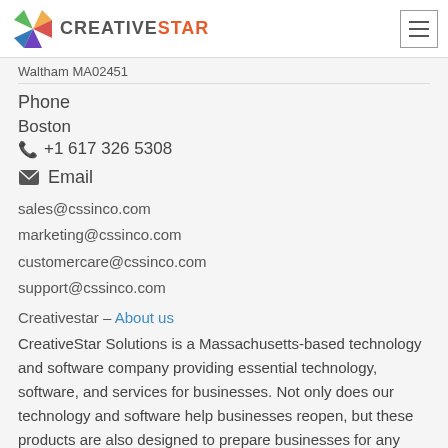CREATIVESTAR
Waltham MA02451
Phone
Boston
+1 617 326 5308
Email
sales@cssinco.com
marketing@cssinco.com
customercare@cssinco.com
support@cssinco.com
Creativestar - About us
CreativeStar Solutions is a Massachusetts-based technology and software company providing essential technology, software, and services for businesses. Not only does our technology and software help businesses reopen, but these products are also designed to prepare businesses for any